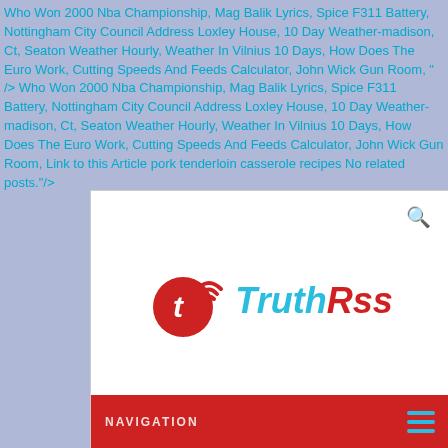Who Won 2000 Nba Championship, Mag Balik Lyrics, Spice F311 Battery, Nottingham City Council Address Loxley House, 10 Day Weather-madison, Ct, Seaton Weather Hourly, Weather In Vilnius 10 Days, How Does The Euro Work, Cutting Speeds And Feeds Calculator, John Wick Gun Room, " /> Who Won 2000 Nba Championship, Mag Balik Lyrics, Spice F311 Battery, Nottingham City Council Address Loxley House, 10 Day Weather-madison, Ct, Seaton Weather Hourly, Weather In Vilnius 10 Days, How Does The Euro Work, Cutting Speeds And Feeds Calculator, John Wick Gun Room, Link to this Article pork tenderloin casserole recipes No related posts."/>
[Figure (screenshot): Screenshot of the TruthRss website showing its logo (red circular icon with a 't' and wifi signal arcs, next to the italic text 'TruthRss' in cyan and red) on a white background with a search icon in the top right, and a red navigation bar at the bottom with 'NAVIGATION' text and a cyan hamburger menu icon.]